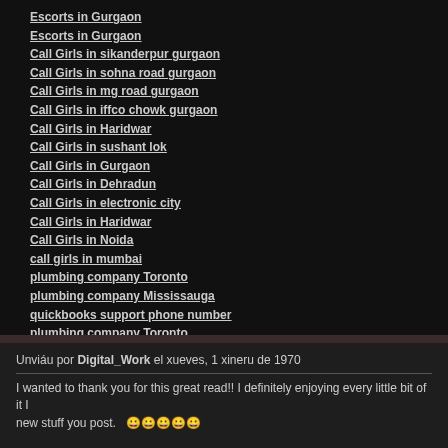Escorts in Gurgaon
Escorts in Gurgaon
Call Girls in sikanderpur gurgaon
Call Girls in sohna road gurgaon
Call Girls in mg road gurgaon
Call Girls in iffco chowk gurgaon
Call Girls in Haridwar
Call Girls in sushant lok
Call Girls in Gurgaon
Call Girls in Dehradun
Call Girls in electronic city
Call Girls in Haridwar
Call Girls in Noida
call girls in mumbai
plumbing company Toronto
plumbing company Mississauga
quickbooks support phone number
plumbing company Toronto
Unviáu por Digital_Work el xueves, 1 xineru de 1970
I wanted to thank you for this great read!! I definitely enjoying every little bit of it I new stuff you post.